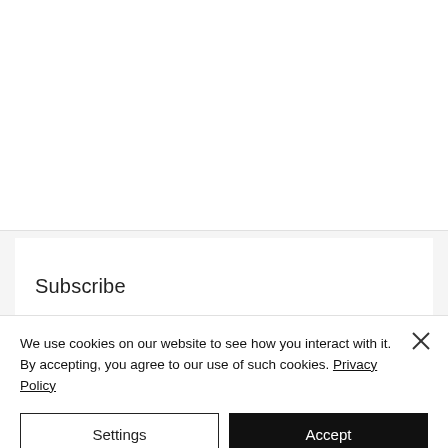Subscribe
We use cookies on our website to see how you interact with it. By accepting, you agree to our use of such cookies. Privacy Policy
Settings
Accept